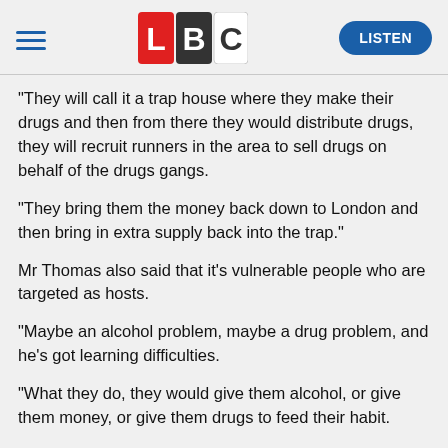LBC | LISTEN
"They will call it a trap house where they make their drugs and then from there they would distribute drugs, they will recruit runners in the area to sell drugs on behalf of the drugs gangs.
"They bring them the money back down to London and then bring in extra supply back into the trap."
Mr Thomas also said that it's vulnerable people who are targeted as hosts.
"Maybe an alcohol problem, maybe a drug problem, and he's got learning difficulties.
"What they do, they would give them alcohol, or give them money, or give them drugs to feed their habit.